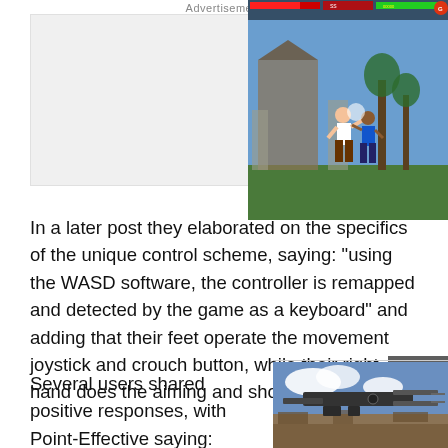Advertisement
[Figure (screenshot): Advertisement placeholder (grey box) on the left and a fighting video game screenshot on the right showing two characters fighting with a HUD displaying health bars and score.]
In a later post they elaborated on the specifics of the unique control scheme, saying: “using the WASD software, the controller is remapped and detected by the game as a keyboard” and adding that their feet operate the movement joystick and crouch button, while their right hand does the aiming and shooting.
[Figure (screenshot): Video game screenshot showing a weapon (large gun) aimed outward in a post-apocalyptic open world environment with cloudy sky.]
Several users shared positive responses, with Point-Effective saying: “that’s dope as hell man”